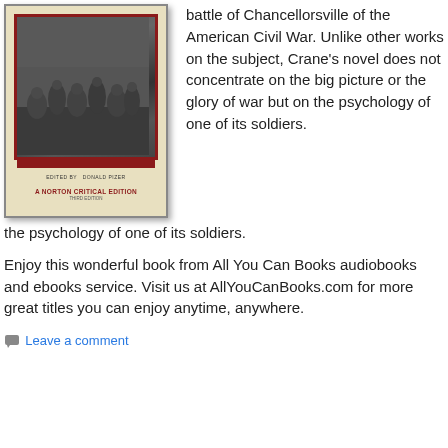[Figure (photo): Book cover of 'The Red Badge of Courage' Norton Critical Edition, Third Edition, edited by Donald Pizer. Yellow cover with a black-and-white Civil War photograph on the front, red border around the photograph, red title band.]
battle of Chancellorsville of the American Civil War. Unlike other works on the subject, Crane's novel does not concentrate on the big picture or the glory of war but on the psychology of one of its soldiers.
Enjoy this wonderful book from All You Can Books audiobooks and ebooks service. Visit us at AllYouCanBooks.com for more great titles you can enjoy anytime, anywhere.
Leave a comment